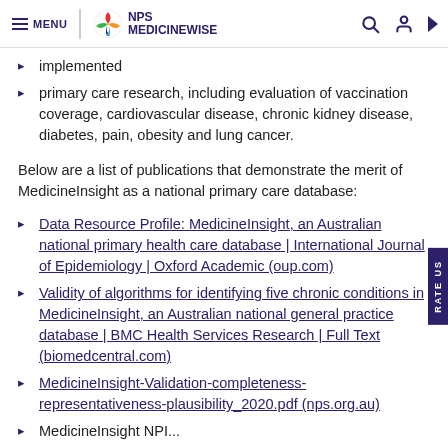MENU | NPS MEDICINEWISE
implemented
primary care research, including evaluation of vaccination coverage, cardiovascular disease, chronic kidney disease, diabetes, pain, obesity and lung cancer.
Below are a list of publications that demonstrate the merit of MedicineInsight as a national primary care database:
Data Resource Profile: MedicineInsight, an Australian national primary health care database | International Journal of Epidemiology | Oxford Academic (oup.com)
Validity of algorithms for identifying five chronic conditions in MedicineInsight, an Australian national general practice database | BMC Health Services Research | Full Text (biomedcentral.com)
MedicineInsight-Validation-completeness-representativeness-plausibility_2020.pdf (nps.org.au)
MedicineInsight NPI...the validation study of...